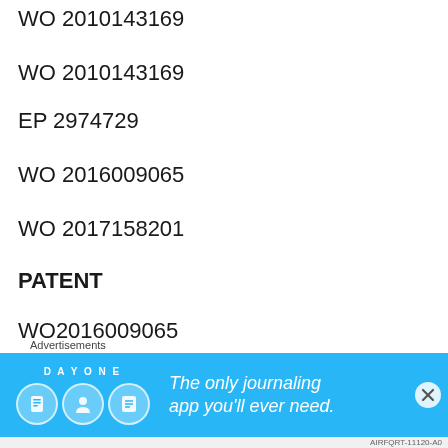WO 2010143169
EP 2974729
WO 2016009065
WO 2017158201
PATENT
WO2016009065
https://patentscope.wipo.int/search/en/detail.jsf?docId=WO2016009065
[Figure (other): Advertisement banner: Day One journaling app advertisement with text 'The only journaling app you’ll ever need.']